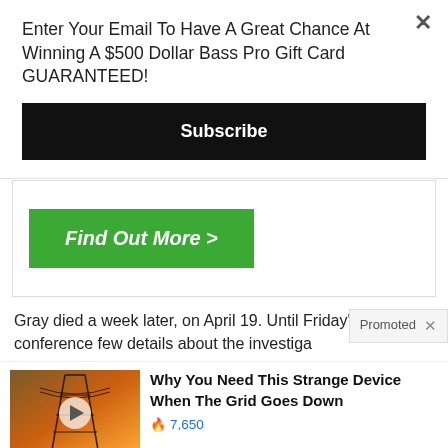Enter Your Email To Have A Great Chance At Winning A $500 Dollar Bass Pro Gift Card GUARANTEED!
Subscribe
[Figure (other): Green Find Out More button inside a white box with border]
Gray died a week later, on April 19. Until Friday's news conference few details about the investiga
Promoted
[Figure (photo): Electricity pylon against orange sunset sky with video play button overlay]
Why You Need This Strange Device When The Grid Goes Down
7,650
[Figure (photo): Man on TV news set with video play button overlay]
Biden Probably Wants This Video Destroyed — Massive Currency Upheaval Has Started
82,434